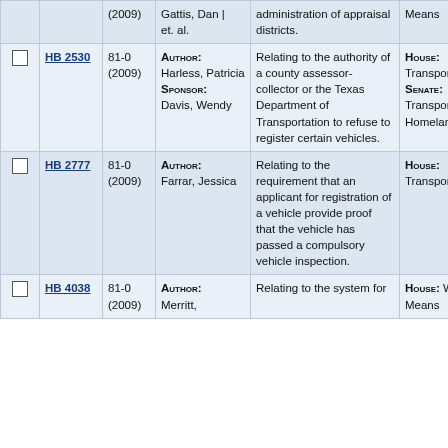|  | Bill | Session | Author/Sponsor | Description | Committee |
| --- | --- | --- | --- | --- | --- |
|  |  | 81-0 (2009) | Gattis, Dan | et. al. | administration of appraisal districts. | Means |
| ☐ | HB 2530 | 81-0 (2009) | AUTHOR: Harless, Patricia SPONSOR: Davis, Wendy | Relating to the authority of a county assessor-collector or the Texas Department of Transportation to refuse to register certain vehicles. | HOUSE: Transportation SENATE: Transportation & Homeland Security |
| ☐ | HB 2777 | 81-0 (2009) | AUTHOR: Farrar, Jessica | Relating to the requirement that an applicant for registration of a vehicle provide proof that the vehicle has passed a compulsory vehicle inspection. | HOUSE: Transportation |
| ☐ | HB 4038 | 81-0 (2009) | AUTHOR: Merritt, | Relating to the system for | HOUSE: Ways & Means |